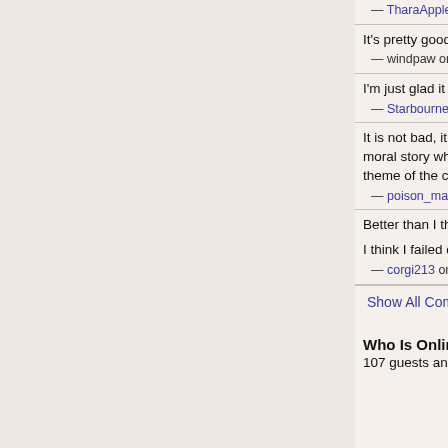— TharaApples on 2/16/2021 10:25:36 PM with a score o
It's pretty good!
— windpaw on 1/15/2021 4:07:34 PM with a score of 0
I'm just glad it wasn't porn.
— Starbourne on 1/5/2021 11:53:07 AM with a score of 0
It is not bad, it is a very classical cyoa what is not ba language with interesting lore characters like the life is a very moral story when it seems you have to be a and there is not a sensation of dread or hopeless. Ma not go with the theme of the contest. Still not bad.
— poison_mara on 12/29/2020 6:08:51 PM with a score o
Better than I thought it would be. It has quite a few ty were cool.
I think I failed due to murdering people or something
— corgi213 on 12/24/2020 10:04:19 PM with a score of 0
Show All Comments
Who Is Online
107 guests and Larimar, EndMaster, silverfox05, heter